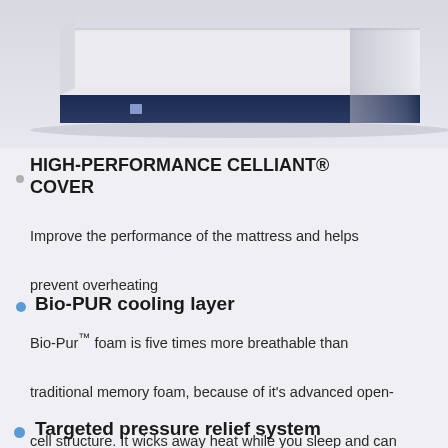[Figure (photo): Product photo of a mattress with a dark navy blue base and white top surface, viewed from a side angle against a light background.]
HIGH-PERFORMANCE CELLIANT® COVER
Improve the performance of the mattress and helps prevent overheating
Bio-PUR cooling layer
Bio-Pur™ foam is five times more breathable than traditional memory foam, because of it's advanced open-cell structure. It wicks away heat while you sleep and can help keep you cool and comfortable
Targeted pressure relief system